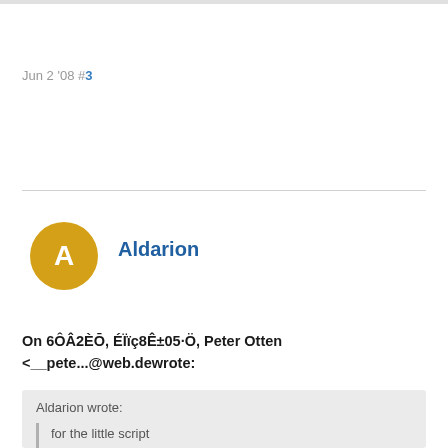Jun 2 '08 #3
Aldarion
On 6ÔÂ2ÈŌ, ÉÏïç8Ê±05·Ö, Peter Otten <__pete...@web.dewrote:
Aldarion wrote:
for the little script
#egg.py
import sys